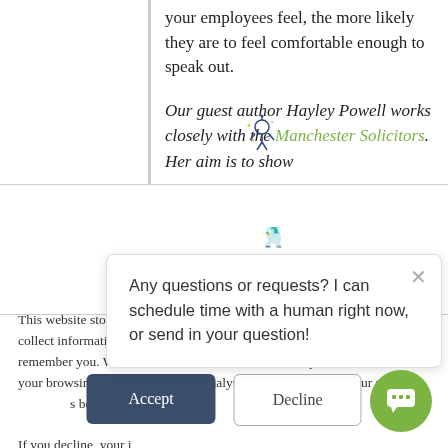your employees feel, the more likely they are to feel comfortable enough to speak out.
Our guest author Hayley Powell works closely with the Manchester Solicitors. Her aim is to show
This website stores cookies on your computer. These cookies are used to collect information about how you interact with our website and allow us to remember you. We use this information in order to improve and customize your browsing experience and for analytics and metrics about our visitors both on this website and the cookies we use,
If you decline, your i when you visit this w used in your browse not to be tracked.
Any questions or requests? I can schedule time with a human right now, or send in your question!
Accept
Decline